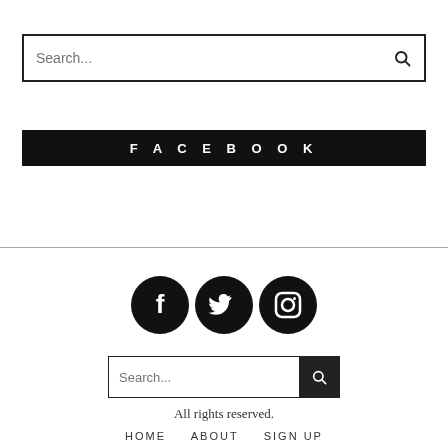Search...
FACEBOOK
[Figure (illustration): Three social media icons: Facebook (f), Twitter (bird), Instagram (camera). All black circles with white icons.]
Search...
All rights reserved.
HOME   ABOUT   SIGN UP